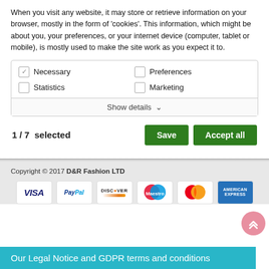When you visit any website, it may store or retrieve information on your browser, mostly in the form of 'cookies'. This information, which might be about you, your preferences, or your internet device (computer, tablet or mobile), is mostly used to make the site work as you expect it to.
[Figure (screenshot): Cookie consent panel with checkboxes: Necessary (checked), Preferences (unchecked), Statistics (unchecked), Marketing (unchecked), and a 'Show details' expand button]
1 / 7  selected
[Figure (screenshot): Save button (green) and Accept all button (green)]
Copyright © 2017 D&R Fashion LTD
[Figure (infographic): Payment method logos: VISA, PayPal, DISCOVER, Maestro, MasterCard, American Express]
Our Legal Notice and GDPR terms and conditions